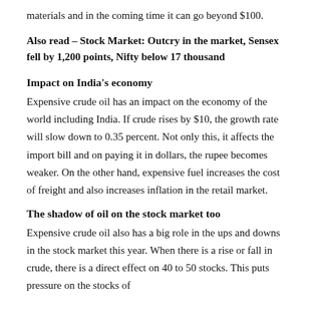materials and in the coming time it can go beyond $100.
Also read – Stock Market: Outcry in the market, Sensex fell by 1,200 points, Nifty below 17 thousand
Impact on India's economy
Expensive crude oil has an impact on the economy of the world including India. If crude rises by $10, the growth rate will slow down to 0.35 percent. Not only this, it affects the import bill and on paying it in dollars, the rupee becomes weaker. On the other hand, expensive fuel increases the cost of freight and also increases inflation in the retail market.
The shadow of oil on the stock market too
Expensive crude oil also has a big role in the ups and downs in the stock market this year. When there is a rise or fall in crude, there is a direct effect on 40 to 50 stocks. This puts pressure on the stocks of